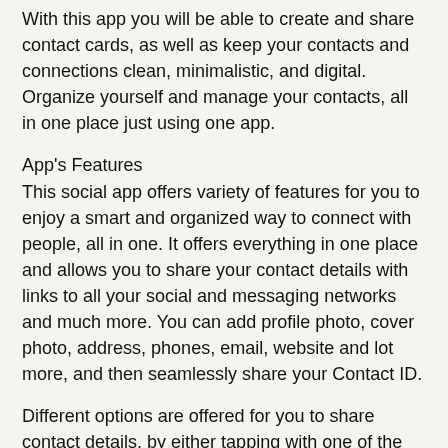With this app you will be able to create and share contact cards, as well as keep your contacts and connections clean, minimalistic, and digital. Organize yourself and manage your contacts, all in one place just using one app.
App's Features
This social app offers variety of features for you to enjoy a smart and organized way to connect with people, all in one. It offers everything in one place and allows you to share your contact details with links to all your social and messaging networks and much more. You can add profile photo, cover photo, address, phones, email, website and lot more, and then seamlessly share your Contact ID.
Different options are offered for you to share contact details, by either tapping with one of the app's smart cards, using your smartwatch or simple using your QR code. Just choose the option that works the best for you and organize all your connections and networks.
With My Contact ID you will be able to scan business cards and store them within the app as well. In that way, the app can also act like your business contact organizer and manager.